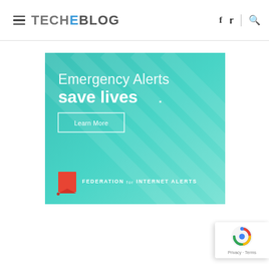TECHEBLOG
[Figure (infographic): Emergency Alerts advertisement banner with teal gradient background. Text reads: 'Emergency Alerts save lives.' with a 'Learn More' button. Bottom shows Federation for Internet Alerts logo with red flag icon.]